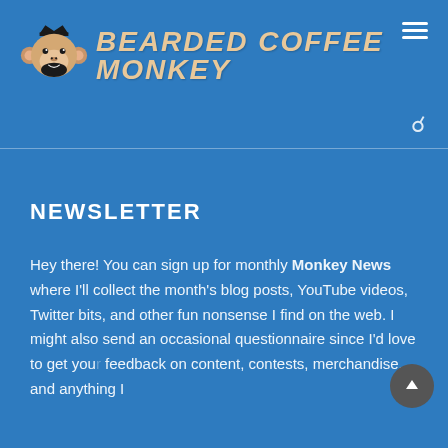[Figure (logo): Bearded Coffee Monkey logo: cartoon monkey face with beard and crown]
BEARDED COFFEE MONKEY
NEWSLETTER
Hey there! You can sign up for monthly Monkey News where I'll collect the month's blog posts, YouTube videos, Twitter bits, and other fun nonsense I find on the web. I might also send an occasional questionnaire since I'd love to get your feedback on content, contests, merchandise, and anything I